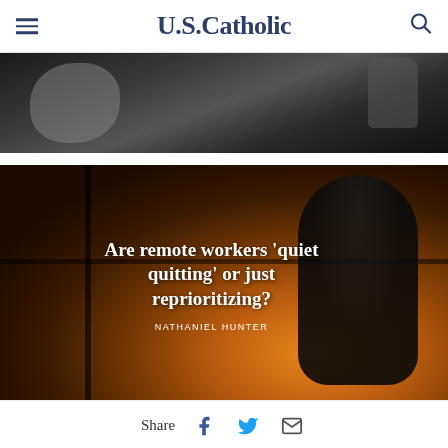U.S.Catholic
[Figure (photo): Black and white photo showing people from behind, partial silhouettes]
[Figure (photo): Photo of a person silhouetted against a window at sunset, with article title overlay: Are remote workers 'quiet quitting' or just reprioritizing? by NATHANIEL HUNTER]
Are remote workers 'quiet quitting' or just reprioritizing?
NATHANIEL HUNTER
Share